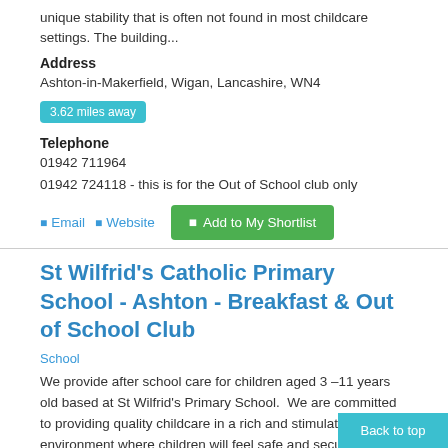unique stability that is often not found in most childcare settings. The building...
Address
Ashton-in-Makerfield, Wigan, Lancashire, WN4
3.62 miles away
Telephone
01942 711964
01942 724118 - this is for the Out of School club only
Email  Website  Add to My Shortlist
St Wilfrid's Catholic Primary School - Ashton - Breakfast & Out of School Club
School
We provide after school care for children aged 3 –11 years old based at St Wilfrid's Primary School.  We are committed to providing quality childcare in a rich and stimulating environment where children will feel safe and secure in order that they can develop and...